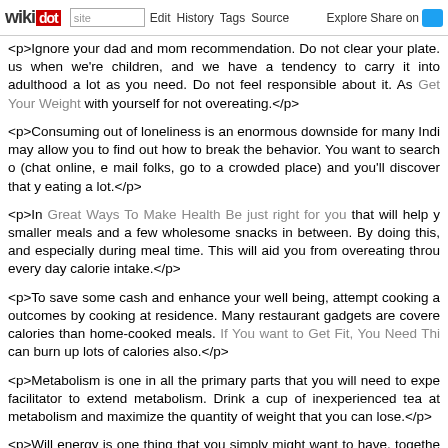wikidot | site | Edit | History | Tags | Source | Explore | Share on [Twitter]
<p>Ignore your dad and mom recommendation. Do not clear your plate. us when we're children, and we have a tendency to carry it into adulthood a lot as you need. Do not feel responsible about it. As Get Your Weight with yourself for not overeating.</p>
<p>Consuming out of loneliness is an enormous downside for many Indi may allow you to find out how to break the behavior. You want to search o (chat online, e mail folks, go to a crowded place) and you'll discover that y eating a lot.</p>
<p>In Great Ways To Make Health Be just right for you that will help y smaller meals and a few wholesome snacks in between. By doing this, and especially during meal time. This will aid you from overeating throu every day calorie intake.</p>
<p>To save some cash and enhance your well being, attempt cooking a outcomes by cooking at residence. Many restaurant gadgets are covere calories than home-cooked meals. If You want to Get Fit, You Need Thi can burn up lots of calories also.</p>
<p>Metabolism is one in all the primary parts that you will need to expe facilitator to extend metabolism. Drink a cup of inexperienced tea at metabolism and maximize the quantity of weight that you can lose.</p>
<p>Will energy is one thing that you simply might want to have, togethe loss program. Try to avoid foods that are very high in fats reminiscent o which can show in your body for those who consume these desserts.</p>
<p>Life is full of challenges. This is one among the primary in your weig what is given and make it your own. Use this data. Dwell this data. Take